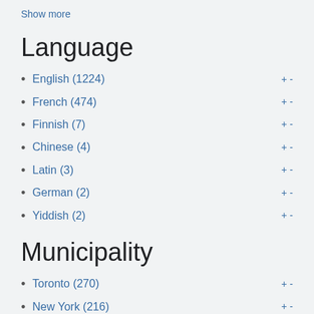Show more
Language
English (1224)
French (474)
Finnish (7)
Chinese (4)
Latin (3)
German (2)
Yiddish (2)
Municipality
Toronto (270)
New York (216)
Montreal (162)
Boston (153)